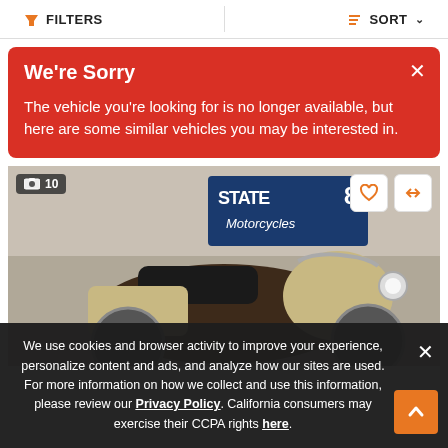FILTERS   SORT
We're Sorry
The vehicle you're looking for is no longer available, but here are some similar vehicles you may be interested in.
[Figure (photo): Photograph of a large touring motorcycle in cream and dark brown colors, displayed indoors against a wall with the State 8 Motorcycles dealer logo visible. Photo count badge showing 10 images, and action buttons for favorite and compare.]
We use cookies and browser activity to improve your experience, personalize content and ads, and analyze how our sites are used. For more information on how we collect and use this information, please review our Privacy Policy. California consumers may exercise their CCPA rights here.